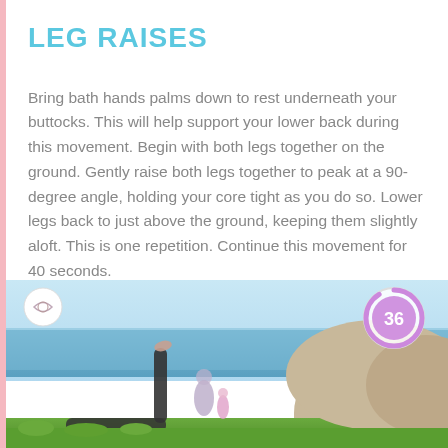LEG RAISES
Bring bath hands palms down to rest underneath your buttocks. This will help support your lower back during this movement. Begin with both legs together on the ground. Gently raise both legs together to peak at a 90-degree angle, holding your core tight as you do so. Lower legs back to just above the ground, keeping them slightly aloft. This is one repetition. Continue this movement for 40 seconds.
[Figure (photo): Outdoor beach scene showing a person performing leg raises on the ground with one leg raised vertically. Another person is visible in the background near rocks and the ocean. A timer overlay shows '36' in a purple circle. A logo circle is visible in the top left of the image.]